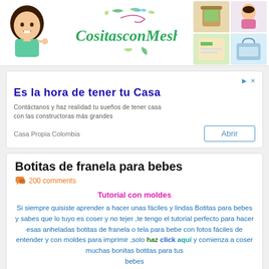[Figure (illustration): Website header with cartoon girl avatar on the left, CositasconMesh logo text in center, and four craft/DIY photo thumbnails on the right]
[Figure (other): Advertisement box: Es la hora de tener tu Casa - Casa Propia Colombia with Abrir button]
Botitas de franela para bebes
200 comments
Tutorial con moldes
Si siempre quisiste aprender a hacer unas fáciles y lindas Botitas para bebes y sabes que lo tuyo es coser y no tejer ,te tengo el tutorial perfecto para hacer esas anheladas botitas de franela o tela para bebe con fotos fáciles de entender y con moldes para imprimir ,solo haz click aquí y comienza a coser muchas bonitas botitas para tus bebes